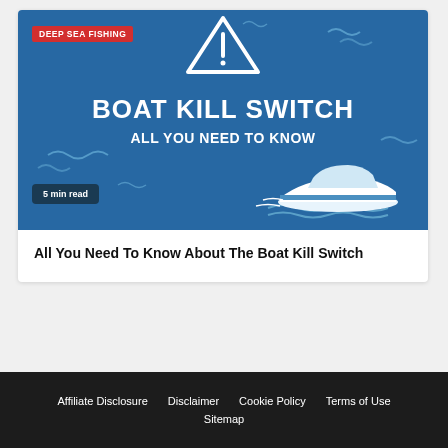[Figure (illustration): Blue banner image with white warning triangle icon at top center, wavy decorative lines, red 'DEEP SEA FISHING' tag at top left, large white bold text 'BOAT KILL SWITCH' and 'ALL YOU NEED TO KNOW', a speedboat illustration at bottom right, and a dark '5 min read' pill at bottom left.]
All You Need To Know About The Boat Kill Switch
Affiliate Disclosure   Disclaimer   Cookie Policy   Terms of Use   Sitemap